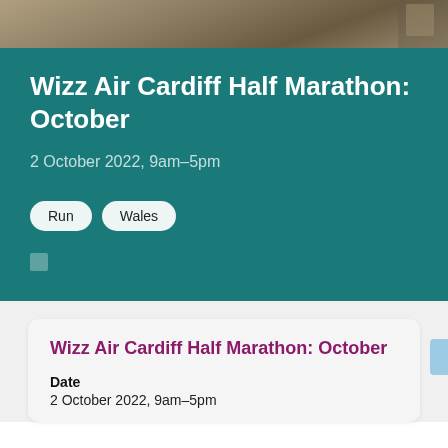[Figure (photo): Partial photo of runners or outdoor scene at the top of the page, partially cropped]
Wizz Air Cardiff Half Marathon: October
2 October 2022, 9am–5pm
Run
Wales
Wizz Air Cardiff Half Marathon: October
Date
2 October 2022, 9am–5pm